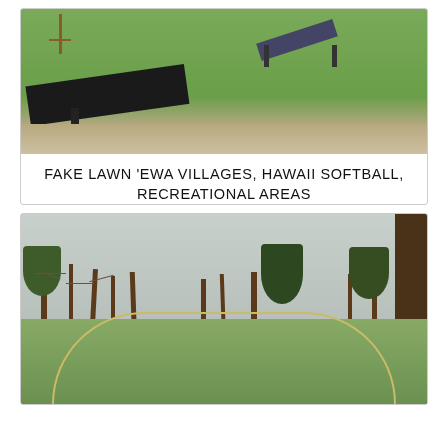[Figure (photo): Outdoor athletic field with bright green artificial turf, a large black ramp/incline structure in the foreground, a smaller A-frame ramp structure in the background right, a goal post on the left, and a gravel or sandy strip at the bottom edge.]
FAKE LAWN 'EWA VILLAGES, HAWAII SOFTBALL, RECREATIONAL AREAS
[Figure (photo): Outdoor park or softball field with bright green artificial turf in the foreground showing a curved infield arc line, surrounded by bare deciduous trees and evergreen trees against an overcast grey sky. A large tree trunk is visible on the right edge.]